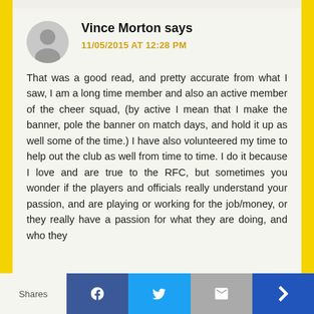Vince Morton says
11/05/2015 AT 12:28 PM
That was a good read, and pretty accurate from what I saw, I am a long time member and also an active member of the cheer squad, (by active I mean that I make the banner, pole the banner on match days, and hold it up as well some of the time.) I have also volunteered my time to help out the club as well from time to time. I do it because I love and are true to the RFC, but sometimes you wonder if the players and officials really understand your passion, and are playing or working for the job/money, or they really have a passion for what they are doing, and who they
Shares